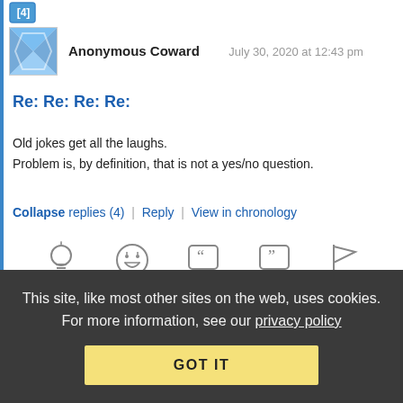[Figure (illustration): Partial view of a comment icon/rating row at the top]
Anonymous Coward   July 30, 2020 at 12:43 pm
Re: Re: Re: Re:
Old jokes get all the laughs.
Problem is, by definition, that is not a yes/no question.
Collapse replies (4) | Reply | View in chronology
[Figure (illustration): Row of comment action icons: lightbulb, laugh emoji, open-quote bubble, close-quote bubble, flag]
This site, like most other sites on the web, uses cookies. For more information, see our privacy policy
GOT IT